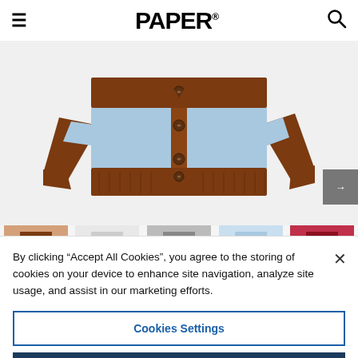PAPER
[Figure (photo): Brown and light blue striped button-up cardigan sweater displayed flat on white background]
[Figure (photo): Thumbnail strip showing multiple cardigan color variants including brown, white/grey, grey, light blue, and dark red/maroon]
By clicking “Accept All Cookies”, you agree to the storing of cookies on your device to enhance site navigation, analyze site usage, and assist in our marketing efforts.
Cookies Settings
Reject All